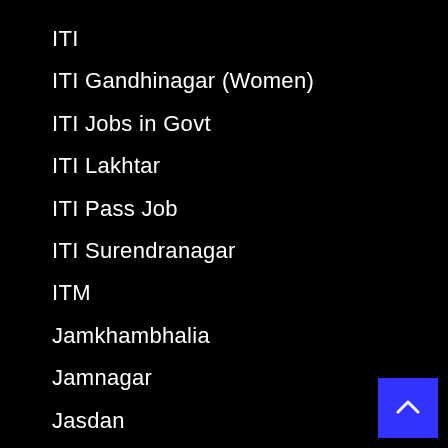ITI
ITI Gandhinagar (Women)
ITI Jobs in Govt
ITI Lakhtar
ITI Pass Job
ITI Surendranagar
ITM
Jamkhambhalia
Jamnagar
Jasdan
JAU
JEE
Jetpur
JMC
JMC Recruitment